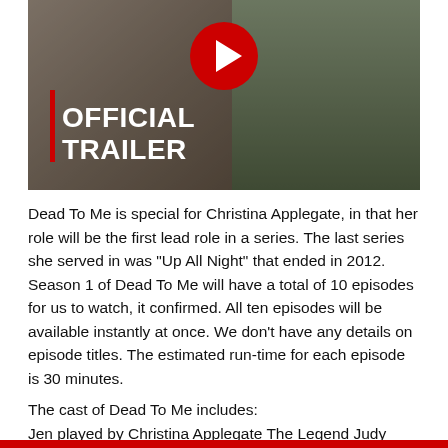[Figure (screenshot): YouTube video thumbnail showing two women standing outdoors with text 'OFFICIAL TRAILER' overlaid and a red YouTube play button icon at top center]
Dead To Me is special for Christina Applegate, in that her role will be the first lead role in a series. The last series she served in was “Up All Night” that ended in 2012. Season 1 of Dead To Me will have a total of 10 episodes for us to watch, it confirmed. All ten episodes will be available instantly at once. We don’t have any details on episode titles. The estimated run-time for each episode is 30 minutes.
The cast of Dead To Me includes:
Jen played by Christina Applegate The Legend Judy